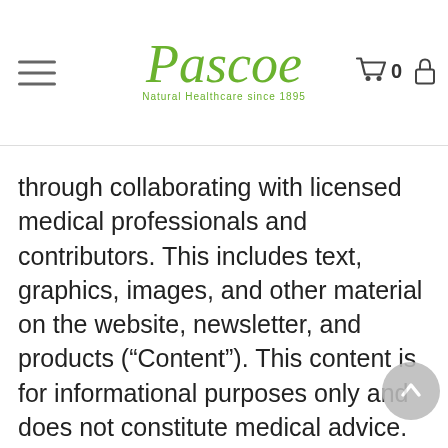Pascoe Natural Healthcare since 1895
through collaborating with licensed medical professionals and contributors. This includes text, graphics, images, and other material on the website, newsletter, and products (“Content”). This content is for informational purposes only and does not constitute medical advice. The content does not substitute professional medical advice, diagnosis, or treatment. Please always do your own research on whether this is for you along with your healthcare practitioner advice. Always consult your healthcare practitioner prior to using specific herbs because you might have underlying conditions that need professional care. The content is general in nature and is subject to change. It is not intended to cover